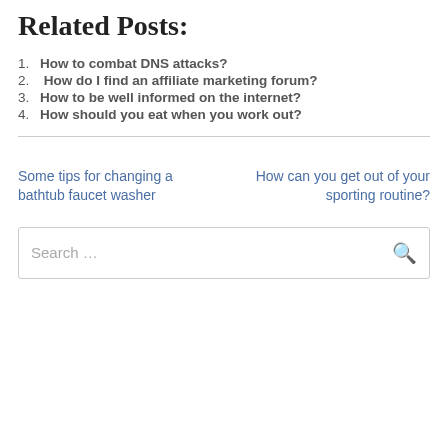Related Posts:
1. How to combat DNS attacks?
2. How do I find an affiliate marketing forum?
3. How to be well informed on the internet?
4. How should you eat when you work out?
Some tips for changing a bathtub faucet washer
How can you get out of your sporting routine?
Search …